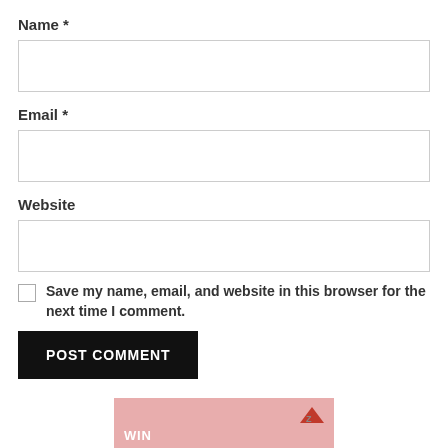Name *
[Figure (other): Text input field for Name]
Email *
[Figure (other): Text input field for Email]
Website
[Figure (other): Text input field for Website]
Save my name, email, and website in this browser for the next time I comment.
POST COMMENT
[Figure (other): Advertisement banner with pink background and Z logo, text WIN]